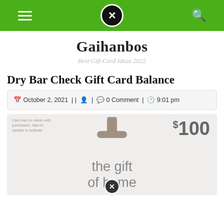Navigation bar with hamburger menu, close button, and search icon on green background
Gaihanbos
Best Gift Card Ideas 2022
Dry Bar Check Gift Card Balance
October 2, 2021 | | [user icon] | [comment icon] 0 Comment | [clock icon] 9:01 pm
[Figure (photo): Photo of a $100 gift card with text 'the gift of home' and a clip-style hanger at the top. Small text reads 'Card has no value until purchased. Take to cashier to activate.']